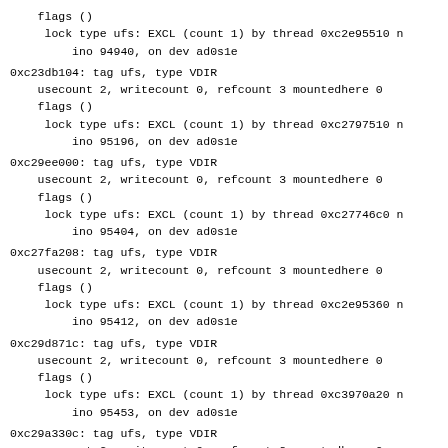flags ()
 lock type ufs: EXCL (count 1) by thread 0xc2e95510 n
     ino 94940, on dev ad0s1e
0xc23db104: tag ufs, type VDIR
    usecount 2, writecount 0, refcount 3 mountedhere 0
    flags ()
     lock type ufs: EXCL (count 1) by thread 0xc2797510 n
         ino 95196, on dev ad0s1e
0xc29ee000: tag ufs, type VDIR
    usecount 2, writecount 0, refcount 3 mountedhere 0
    flags ()
     lock type ufs: EXCL (count 1) by thread 0xc27746c0 n
         ino 95404, on dev ad0s1e
0xc27fa208: tag ufs, type VDIR
    usecount 2, writecount 0, refcount 3 mountedhere 0
    flags ()
     lock type ufs: EXCL (count 1) by thread 0xc2e95360 n
         ino 95412, on dev ad0s1e
0xc29d871c: tag ufs, type VDIR
    usecount 2, writecount 0, refcount 3 mountedhere 0
    flags ()
     lock type ufs: EXCL (count 1) by thread 0xc3970a20 n
         ino 95453, on dev ad0s1e
0xc29a330c: tag ufs, type VDIR
    usecount 2, writecount 0, refcount 3 mountedhere 0
    flags ()